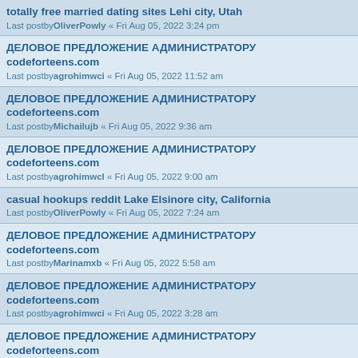totally free married dating sites Lehi city, Utah
Last postbyOliverPowly « Fri Aug 05, 2022 3:24 pm
ДЕЛОВОЕ ПРЕДЛОЖЕНИЕ АДМИНИСТРАТОРУ codeforteens.com
Last postbyagrohimwci « Fri Aug 05, 2022 11:52 am
ДЕЛОВОЕ ПРЕДЛОЖЕНИЕ АДМИНИСТРАТОРУ codeforteens.com
Last postbyMichailujb « Fri Aug 05, 2022 9:36 am
ДЕЛОВОЕ ПРЕДЛОЖЕНИЕ АДМИНИСТРАТОРУ codeforteens.com
Last postbyagrohimwcl « Fri Aug 05, 2022 9:00 am
casual hookups reddit Lake Elsinore city, California
Last postbyOliverPowly « Fri Aug 05, 2022 7:24 am
ДЕЛОВОЕ ПРЕДЛОЖЕНИЕ АДМИНИСТРАТОРУ codeforteens.com
Last postbyMarinamxb « Fri Aug 05, 2022 5:58 am
ДЕЛОВОЕ ПРЕДЛОЖЕНИЕ АДМИНИСТРАТОРУ codeforteens.com
Last postbyagrohimwci « Fri Aug 05, 2022 3:28 am
ДЕЛОВОЕ ПРЕДЛОЖЕНИЕ АДМИНИСТРАТОРУ codeforteens.com
Last postbyMarinafvo « Fri Aug 05, 2022 3:18 am
ДЕЛОВОЕ ПРЕДЛОЖЕНИЕ АДМИНИСТРАТОРУ codeforteens.com
Last postbyMarinanqa « Fri Aug 05, 2022 12:48 am
ДЕЛОВОЕ ПРЕДЛОЖЕНИЕ АДМИНИСТРАТОРУ codeforteens.com
Last postbyagrohimwcl « Fri Aug 05, 2022 12:37 am
adult flirt finders Greenwood city, Indiana
Last postbyOliverPowly « Thu Aug 04, 2022 11:10 pm